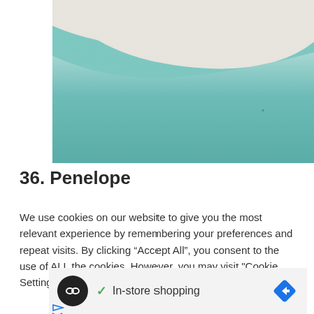[Figure (photo): Close-up photograph of a teal/turquoise textured surface (possibly fabric or sand) with a white/cream curved edge at the top, transitioning into a teal-blue granular texture below.]
36. Penelope
We use cookies on our website to give you the most relevant experience by remembering your preferences and repeat visits. By clicking “Accept All”, you consent to the use of ALL the cookies. However, you may visit "Cookie Settings" to
[Figure (infographic): Advertisement bar showing a circular dark icon with infinity-like symbol, a checkmark with 'In-store shopping' text, and a blue diamond-shaped navigation arrow icon on the right. Below are two small icons: a play/triangle icon and an X icon.]